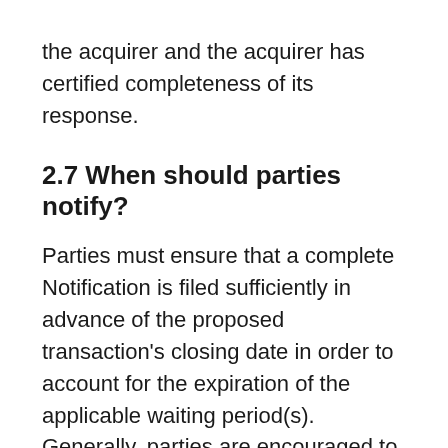the acquirer and the acquirer has certified completeness of its response.
2.7 When should parties notify?
Parties must ensure that a complete Notification is filed sufficiently in advance of the proposed transaction's closing date in order to account for the expiration of the applicable waiting period(s). Generally, parties are encouraged to contact the Bureau at the earliest stage reasonably possible, and certainly as soon as they have an agreement or, in the case of a hostile takeover definite plans.